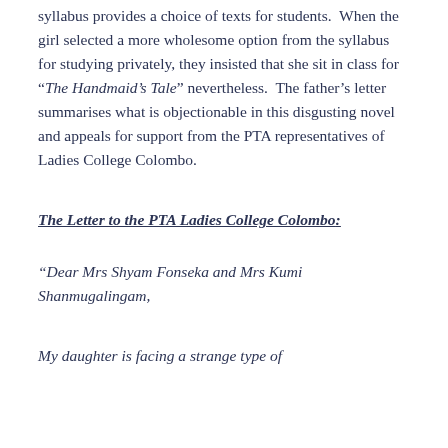syllabus provides a choice of texts for students.  When the girl selected a more wholesome option from the syllabus for studying privately, they insisted that she sit in class for “The Handmaid’s Tale” nevertheless.  The father’s letter summarises what is objectionable in this disgusting novel and appeals for support from the PTA representatives of Ladies College Colombo.
The Letter to the PTA Ladies College Colombo:
“Dear Mrs Shyam Fonseka and Mrs Kumi Shanmugalingam,
My daughter is facing a strange type of